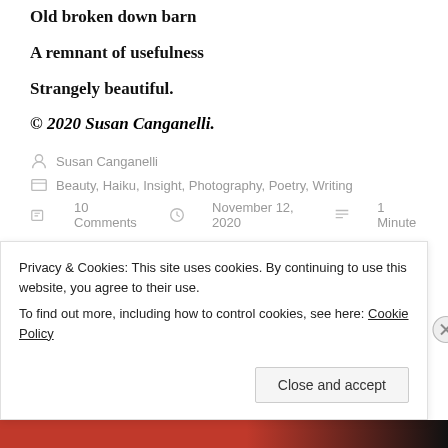Old broken down barn
A remnant of usefulness
Strangely beautiful.
© 2020 Susan Canganelli.
Susan Canganelli
Beauty, Haiku, Insight, Photography, Poetry, Writing
10 Comments   November 12, 2020   1 Minute
Haiku: Iris
Privacy & Cookies: This site uses cookies. By continuing to use this website, you agree to their use.
To find out more, including how to control cookies, see here: Cookie Policy
Close and accept